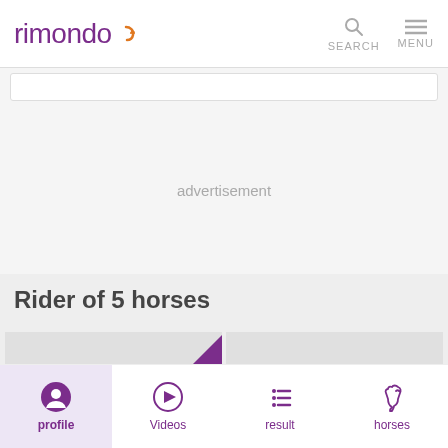rimondo — website header with logo, SEARCH and MENU navigation
advertisement
Rider of 5 horses
[Figure (screenshot): Two content cards side by side; left card has a purple play button triangle in corner]
profile | Videos | result | horses — bottom navigation bar